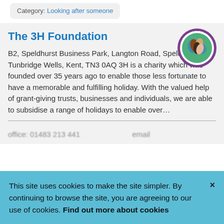Category: Looking after someone
The 3H Foundation
[Figure (logo): Circular logo with colourful hands and globe, surrounded by text 'LUTON' and 'LOCATE']
B2, Speldhurst Business Park, Langton Road, Speldhurst, Tunbridge Wells, Kent, TN3 0AQ
3H is a charity which was founded over 35 years ago to enable those less fortunate to have a memorable and fulfilling holiday. With the valued help of grant-giving trusts, businesses and individuals, we are able to subsidise a range of holidays to enable over…
This site uses cookies to make the site simpler. By continuing to browse the site, you are agreeing to our use of cookies. Find out more about cookies